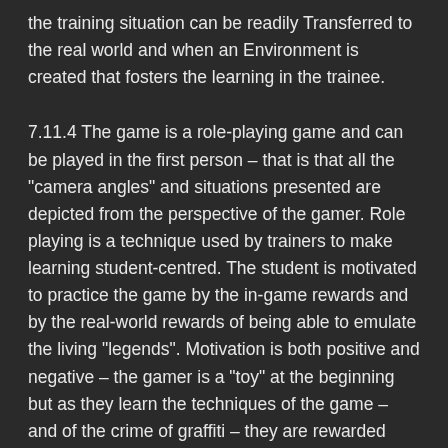the training situation can be readily Transferred to the real world and when an Environment is created that fosters the learning in the trainee.
7.11.4 The game is a role-playing game and can be played in the first person – that is that all the "camera angles" and situations presented are depicted from the perspective of the gamer. Role playing is a technique used by trainers to make learning student-centred. The student is motivated to practice the game by the in-game rewards and by the real-world rewards of being able to emulate the living "legends". Motivation is both positive and negative – the gamer is a "toy" at the beginning but as they learn the techniques of the game – and of the crime of graffiti – they are rewarded with in-game praise, in-game points, and real-world